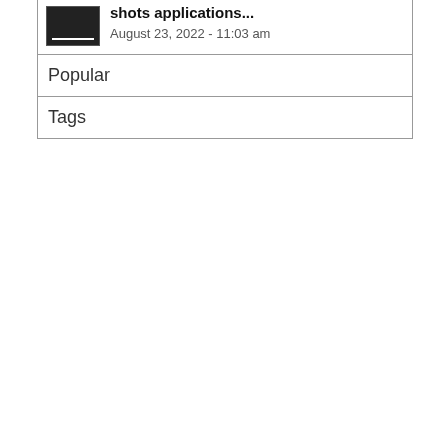shots applications...
August 23, 2022 - 11:03 am
Popular
Tags